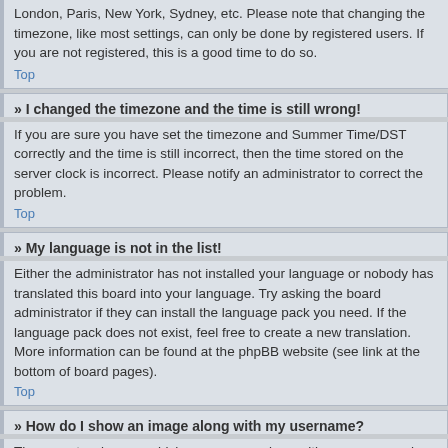London, Paris, New York, Sydney, etc. Please note that changing the timezone, like most settings, can only be done by registered users. If you are not registered, this is a good time to do so.
Top
» I changed the timezone and the time is still wrong!
If you are sure you have set the timezone and Summer Time/DST correctly and the time is still incorrect, then the time stored on the server clock is incorrect. Please notify an administrator to correct the problem.
Top
» My language is not in the list!
Either the administrator has not installed your language or nobody has translated this board into your language. Try asking the board administrator if they can install the language pack you need. If the language pack does not exist, feel free to create a new translation. More information can be found at the phpBB website (see link at the bottom of board pages).
Top
» How do I show an image along with my username?
There are two images which may appear along with a username when viewing posts. One of them may be an image associated with your rank, generally in the form of stars, blocks or dots, indicating how many posts you have made or your status on the board. Another usually larger image is known as an avatar and is...